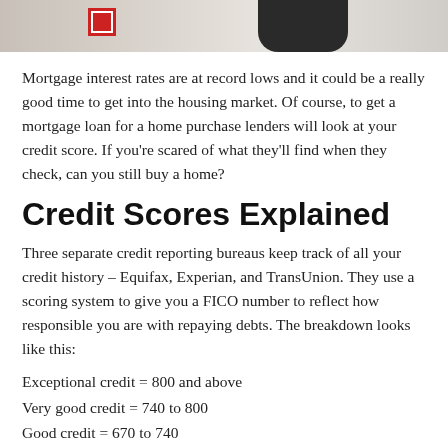[Figure (photo): Partial photo strip showing a red box/icon on left and a dark rounded object on the right against a light background]
Mortgage interest rates are at record lows and it could be a really good time to get into the housing market. Of course, to get a mortgage loan for a home purchase lenders will look at your credit score. If you're scared of what they'll find when they check, can you still buy a home?
Credit Scores Explained
Three separate credit reporting bureaus keep track of all your credit history – Equifax, Experian, and TransUnion. They use a scoring system to give you a FICO number to reflect how responsible you are with repaying debts. The breakdown looks like this:
Exceptional credit = 800 and above
Very good credit = 740 to 800
Good credit = 670 to 740
Fair credit = 580 to 670
Poor credit = under 580